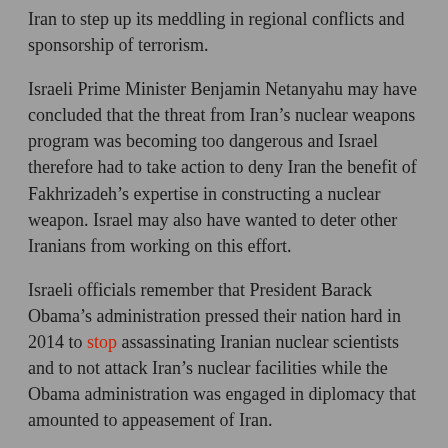Iran to step up its meddling in regional conflicts and sponsorship of terrorism.
Israeli Prime Minister Benjamin Netanyahu may have concluded that the threat from Iran’s nuclear weapons program was becoming too dangerous and Israel therefore had to take action to deny Iran the benefit of Fakhrizadeh’s expertise in constructing a nuclear weapon. Israel may also have wanted to deter other Iranians from working on this effort.
Israeli officials remember that President Barack Obama’s administration pressed their nation hard in 2014 to stop assassinating Iranian nuclear scientists and to not attack Iran’s nuclear facilities while the Obama administration was engaged in diplomacy that amounted to appeasement of Iran.
The Jewish state may have staged the killing of Fakhrizadeh now in the belief that a Biden administration will begin a new round of Iran appeasement and again press Israel not to take provocative actions against Iran’s dangerous nuclear program.
Israel reportedly recently put its military on alert because of the possibility that President Trump may order an attack against Iran’s